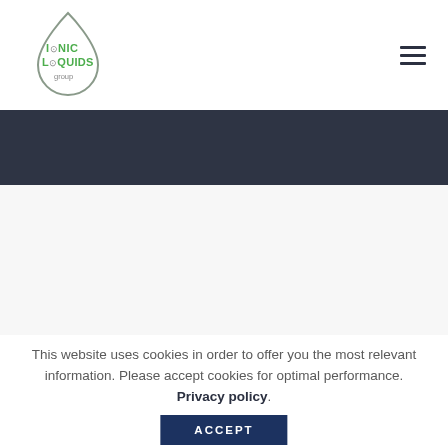[Figure (logo): Ionic Liquids Group logo: a droplet outline containing the text 'IONIC LIQUIDS group' in green and gray]
[Figure (other): Hamburger menu icon with three horizontal dark lines]
[Figure (other): Dark navy/charcoal horizontal banner strip]
[Figure (other): Light gray content area placeholder]
This website uses cookies in order to offer you the most relevant information. Please accept cookies for optimal performance. Privacy policy.
ACCEPT